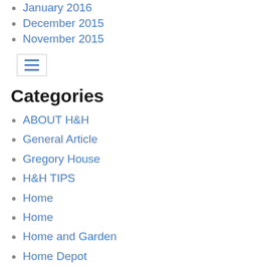January 2016
December 2015
November 2015
[Figure (other): Hamburger menu icon button with three horizontal blue lines inside a bordered box]
Categories
ABOUT H&H
General Article
Gregory House
H&H TIPS
Home
Home
Home and Garden
Home Depot
Home Listings
Home Sales
House
HOUSE INFO